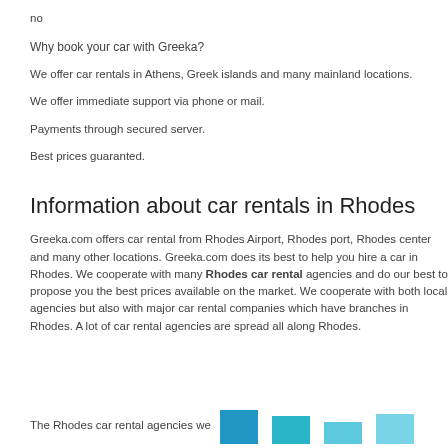no
Why book your car with Greeka?
We offer car rentals in Athens, Greek islands and many mainland locations.
We offer immediate support via phone or mail.
Payments through secured server.
Best prices guaranted.
Information about car rentals in Rhodes
Greeka.com offers car rental from Rhodes Airport, Rhodes port, Rhodes center and many other locations. Greeka.com does its best to help you hire a car in Rhodes. We cooperate with many Rhodes car rental agencies and do our best to propose you the best prices available on the market. We cooperate with both local agencies but also with major car rental companies which have branches in Rhodes. A lot of car rental agencies are spread all along Rhodes.
The Rhodes car rental agencies we
[Figure (bar-chart): Partial bar chart visible at bottom right of page, showing blue/teal colored bars of varying heights]